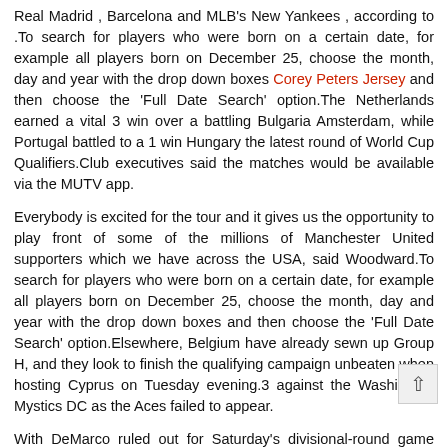Real Madrid , Barcelona and MLB's New Yankees , according to .To search for players who were born on a certain date, for example all players born on December 25, choose the month, day and year with the drop down boxes Corey Peters Jersey and then choose the 'Full Date Search' option.The Netherlands earned a vital 3 win over a battling Bulgaria Amsterdam, while Portugal battled to a 1 win Hungary the latest round of World Cup Qualifiers.Club executives said the matches would be available via the MUTV app.
Everybody is excited for the tour and it gives us the opportunity to play front of some of the millions of Manchester United supporters which we have across the USA, said Woodward.To search for players who were born on a certain date, for example all players born on December 25, choose the month, day and year with the drop down boxes and then choose the 'Full Date Search' option.Elsewhere, Belgium have already sewn up Group H, and they look to finish the qualifying campaign unbeaten when hosting Cyprus on Tuesday evening.3 against the Washington Mystics DC as the Aces failed to appear.
With DeMarco ruled out for Saturday's divisional-round game against the Patriots, head the Tennessee Titans' backfield, of the team's official site reports.The 2016 second-rounder rushed for a career-high 156 yards and a touchdown on 23 carries and caught both of his targets for 35 yards last week's 22 win over the Chiefs the wild-card round.Tennessee Titans head coach Mularkey confirmed Sunday that would likely start at running back Tennessee's divisional-round matchup with New England on .The final round of World Cup Qualifiers takes place on Tuesday as teams including and Portugal look to clinch qualification.provides a different body type, a different playing style.
Hungary, meanwhile, take on Australia before they head to this summer's tournament Russia.Scotland remained on top but had a warning on the